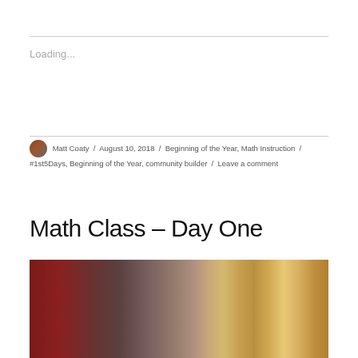Loading...
Matt Coaty / August 10, 2018 / Beginning of the Year, Math Instruction / #1st5Days, Beginning of the Year, community builder / Leave a comment
Math Class – Day One
[Figure (photo): A blurred, warm-toned photo of what appears to be a classroom or indoor space with reddish tones on the left and warm amber/gold bokeh lights on the right.]